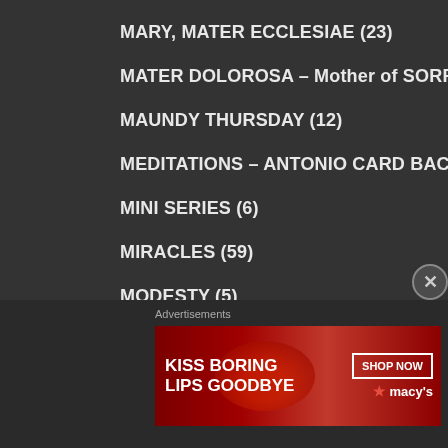MARY, MATER ECCLESIAE (23)
MATER DOLOROSA – Mother of SORROWS (85)
MAUNDY THURSDAY (12)
MEDITATIONS – ANTONIO CARD BACCI (830)
MINI SERIES (6)
MIRACLES (59)
MODESTY (5)
MORNING Prayers (3,197)
MOTHER of GOD (51)
MYSTICS (73)
NOTES to Followers (196)
Advertisements
[Figure (photo): Macy's advertisement banner: KISS BORING LIPS GOODBYE with SHOP NOW button and macy's logo, featuring a woman's face with red lips]